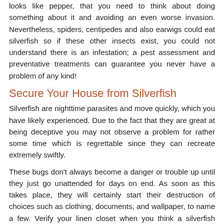looks like pepper, that you need to think about doing something about it and avoiding an even worse invasion. Nevertheless, spiders, centipedes and also earwigs could eat silverfish so if these other insects exist, you could not understand there is an infestation; a pest assessment and preventative treatments can guarantee you never have a problem of any kind!
Secure Your House from Silverfish
Silverfish are nighttime parasites and move quickly, which you have likely experienced. Due to the fact that they are great at being deceptive you may not observe a problem for rather some time which is regrettable since they can recreate extremely swiftly.
These bugs don't always become a danger or trouble up until they just go unattended for days on end. As soon as this takes place, they will certainly start their destruction of choices such as clothing, documents, and wallpaper, to name a few. Verify your linen closet when you think a silverfish infestation to guarantee they have actually not been damaged or the closet is not plagued with more.
While they have the ability to survive in many environments they will pick damp areas over others. Managing the humidity in your house is one method to avoid a silverfish problem.
Managing a Silverfish Intrusion
When you are far too late in regards to preventing a silverfish intrusion, it's time